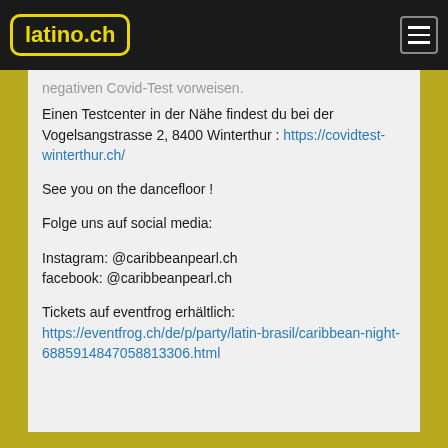latino.ch
negativen Covid-Test vorweisen.
Einen Testcenter in der Nähe findest du bei der Vogelsangstrasse 2, 8400 Winterthur : https://covidtest-winterthur.ch/
See you on the dancefloor !
Folge uns auf social media:
Instagram: @caribbeanpearl.ch
facebook: @caribbeanpearl.ch
Tickets auf eventfrog erhältlich:
https://eventfrog.ch/de/p/party/latin-brasil/caribbean-night-6885914847058813306.html